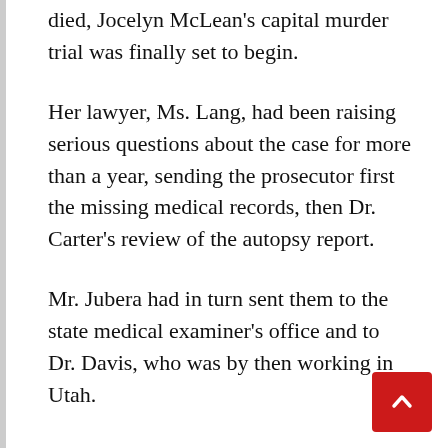died, Jocelyn McLean's capital murder trial was finally set to begin.
Her lawyer, Ms. Lang, had been raising serious questions about the case for more than a year, sending the prosecutor first the missing medical records, then Dr. Carter's review of the autopsy report.
Mr. Jubera had in turn sent them to the state medical examiner's office and to Dr. Davis, who was by then working in Utah.
Months went by with no response. So Ms. Lang prepared to confront Dr. Davis on the witness stand about how he had reached his conclusions.
Just days before trial, Dr. Davis abruptly